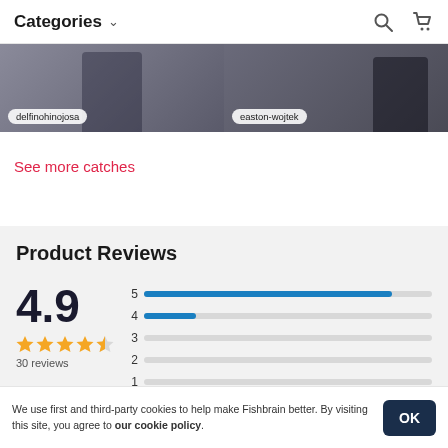Categories
[Figure (photo): Two fishing catch photos side by side: left labeled 'delfinohinojosa', right labeled 'easton-wojtek']
See more catches
Product Reviews
[Figure (bar-chart): Product Reviews rating distribution]
We use first and third-party cookies to help make Fishbrain better. By visiting this site, you agree to our cookie policy.